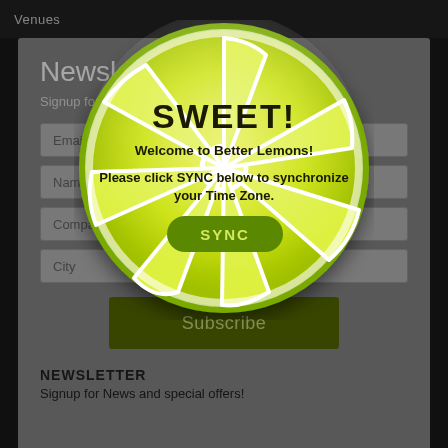Venues
Newsletter
Signup for
Email
Name
Company
City
[Figure (illustration): Lemon slice popup dialog with text SWEET! Welcome to Better Lemons! Please click SYNC below to synchronize your Time Zone. SYNC button in green.]
Subscribe
NEWSLETTER
Signup for News and special offers!